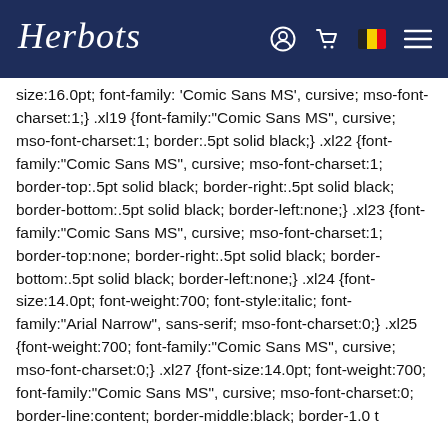Herbots [navigation bar with user, cart, flag, menu icons]
size:16.0pt; font-family:'Comic Sans MS', cursive; mso-font-charset:1;} .xl19 {font-family:"Comic Sans MS", cursive; mso-font-charset:1; border:.5pt solid black;} .xl22 {font-family:"Comic Sans MS", cursive; mso-font-charset:1; border-top:.5pt solid black; border-right:.5pt solid black; border-bottom:.5pt solid black; border-left:none;} .xl23 {font-family:"Comic Sans MS", cursive; mso-font-charset:1; border-top:none; border-right:.5pt solid black; border-bottom:.5pt solid black; border-left:none;} .xl24 {font-size:14.0pt; font-weight:700; font-style:italic; font-family:"Arial Narrow", sans-serif; mso-font-charset:0;} .xl25 {font-weight:700; font-family:"Comic Sans MS", cursive; mso-font-charset:0;} .xl27 {font-size:14.0pt; font-weight:700; font-family:"Comic Sans MS", cursive; mso-font-charset:0; border-line:content; border-middle:black; border-1.0 t